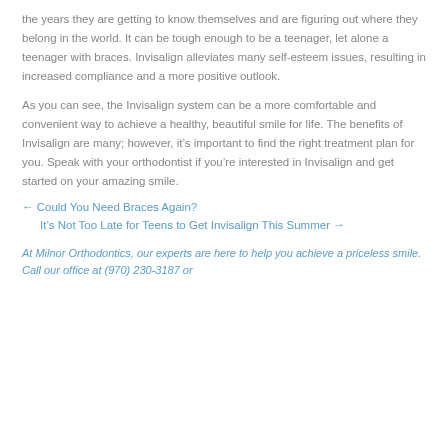the years they are getting to know themselves and are figuring out where they belong in the world. It can be tough enough to be a teenager, let alone a teenager with braces. Invisalign alleviates many self-esteem issues, resulting in increased compliance and a more positive outlook.
As you can see, the Invisalign system can be a more comfortable and convenient way to achieve a healthy, beautiful smile for life. The benefits of Invisalign are many; however, it’s important to find the right treatment plan for you. Speak with your orthodontist if you’re interested in Invisalign and get started on your amazing smile.
← Could You Need Braces Again?
It’s Not Too Late for Teens to Get Invisalign This Summer →
At Milnor Orthodontics, our experts are here to help you achieve a priceless smile. Call our office at (970) 230-3187 or